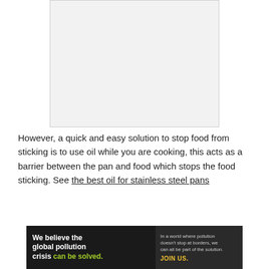[Figure (other): Blank light gray placeholder image with border]
However, a quick and easy solution to stop food from sticking is to use oil while you are cooking, this acts as a barrier between the pan and food which stops the food sticking. See the best oil for stainless steel pans
[Figure (other): Pure Earth advertisement banner. Text: We believe the global pollution crisis can be solved. In a world where pollution doesn't stop at borders, we can all be part of the solution. JOIN US. Pure Earth logo.]